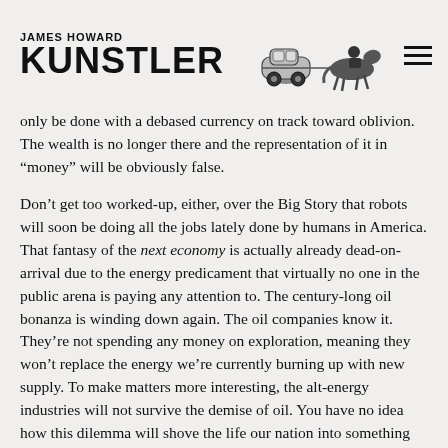JAMES HOWARD KUNSTLER
every citizen around $1,000 a month whether they have a job or not. You can mount any number of arguments about how that might work. Assure you, for worse, if something like that were ramped up, I assure you it could only be done with a debased currency on track toward oblivion. The wealth is no longer there and the representation of it in “money” will be obviously false.
Don’t get too worked-up, either, over the Big Story that robots will soon be doing all the jobs lately done by humans in America. That fantasy of the next economy is actually already dead-on-arrival due to the energy predicament that virtually no one in the public arena is paying any attention to. The century-long oil bonanza is winding down again. The oil companies know it. They’re not spending any money on exploration, meaning they won’t replace the energy we’re currently burning up with new supply. To make matters more interesting, the alt-energy industries will not survive the demise of oil. You have no idea how this dilemma will shove the life our nation into something like a new medieval age. And don’t be surprised if it comes complete with a new feudalism — which is just a way of describing a deeply local economy, if